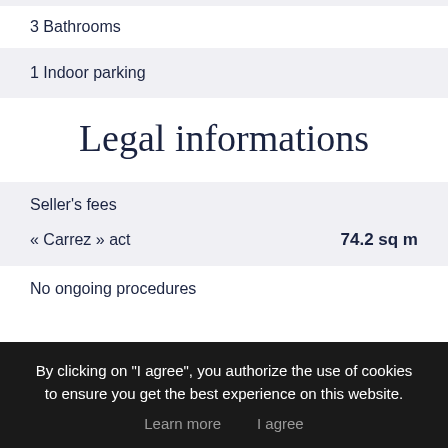3 Bathrooms
1 Indoor parking
Legal informations
Seller's fees
« Carrez » act    74.2 sq m
No ongoing procedures
By clicking on "I agree", you authorize the use of cookies to ensure you get the best experience on this website.
Learn more    I agree